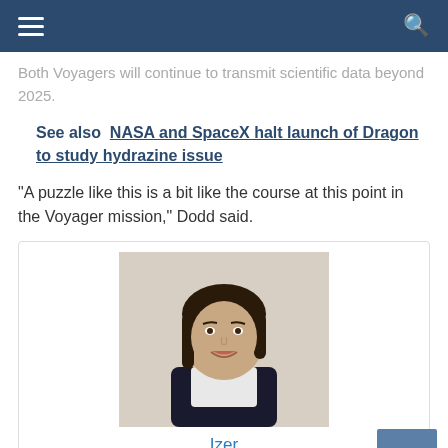Navigation bar with hamburger menu and search icon
Both Voyagers will continue to transmit scientific data beyond 2025.
See also  NASA and SpaceX halt launch of Dragon to study hydrazine issue
"A puzzle like this is a bit like the course at this point in the Voyager mission," Dodd said.
[Figure (photo): Headshot photo of a young woman with dark hair, smiling, wearing a dark sleeveless top]
Izer
"Certified music scholar. Freelance analyst. Social